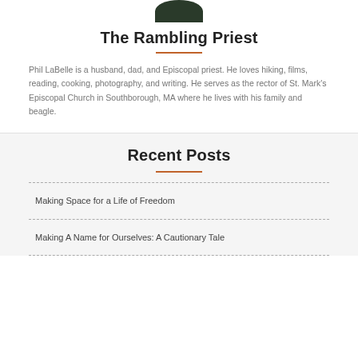[Figure (photo): Partial profile photo cropped at top of page]
The Rambling Priest
Phil LaBelle is a husband, dad, and Episcopal priest. He loves hiking, films, reading, cooking, photography, and writing. He serves as the rector of St. Mark's Episcopal Church in Southborough, MA where he lives with his family and beagle.
Recent Posts
Making Space for a Life of Freedom
Making A Name for Ourselves: A Cautionary Tale